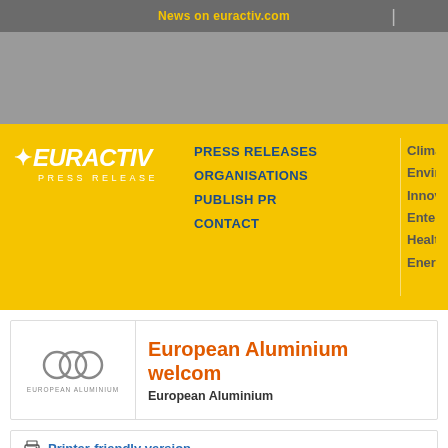News on euractiv.com
[Figure (logo): EURACTIV Press Release logo on yellow navigation bar with nav links: PRESS RELEASES, ORGANISATIONS, PUBLISH PR, CONTACT, and topics: Climate, Enviro, Innova, Enterp, Health, Energy]
[Figure (logo): European Aluminium logo (three interlocking circles)]
European Aluminium welcom
European Aluminium
Printer-friendly version